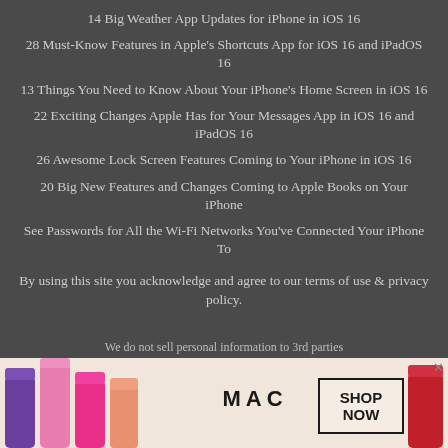14 Big Weather App Updates for iPhone in iOS 16
28 Must-Know Features in Apple's Shortcuts App for iOS 16 and iPadOS 16
13 Things You Need to Know About Your iPhone's Home Screen in iOS 16
22 Exciting Changes Apple Has for Your Messages App in iOS 16 and iPadOS 16
26 Awesome Lock Screen Features Coming to Your iPhone in iOS 16
20 Big New Features and Changes Coming to Apple Books on Your iPhone
See Passwords for All the Wi-Fi Networks You've Connected Your iPhone To
By using this site you acknowledge and agree to our terms of use & privacy policy.
We do not sell personal information to 3rd parties
[Figure (advertisement): MAC cosmetics advertisement showing colorful lipsticks, MAC logo, and SHOP NOW button]